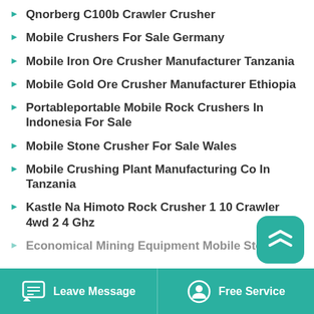Qnorberg C100b Crawler Crusher
Mobile Crushers For Sale Germany
Mobile Iron Ore Crusher Manufacturer Tanzania
Mobile Gold Ore Crusher Manufacturer Ethiopia
Portableportable Mobile Rock Crushers In Indonesia For Sale
Mobile Stone Crusher For Sale Wales
Mobile Crushing Plant Manufacturing Co In Tanzania
Kastle Na Himoto Rock Crusher 1 10 Crawler 4wd 2 4 Ghz
Economical Mining Equipment Mobile Stone
Leave Message   Free Service